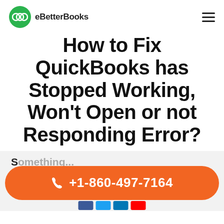eBetterBooks
How to Fix QuickBooks has Stopped Working, Won't Open or not Responding Error?
S...
+1-860-497-7164